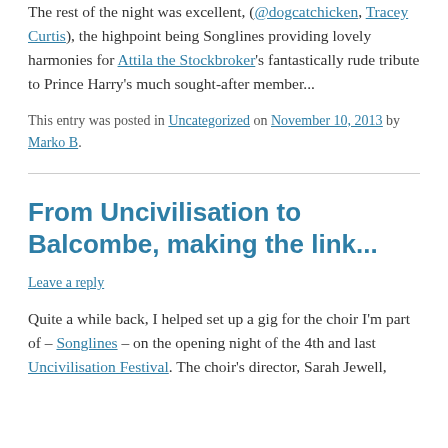The rest of the night was excellent, (@dogcatchicken, Tracey Curtis), the highpoint being Songlines providing lovely harmonies for Attila the Stockbroker's fantastically rude tribute to Prince Harry's much sought-after member...
This entry was posted in Uncategorized on November 10, 2013 by Marko B.
From Uncivilisation to Balcombe, making the link...
Leave a reply
Quite a while back, I helped set up a gig for the choir I'm part of – Songlines – on the opening night of the 4th and last Uncivilisation Festival. The choir's director, Sarah Jewell,